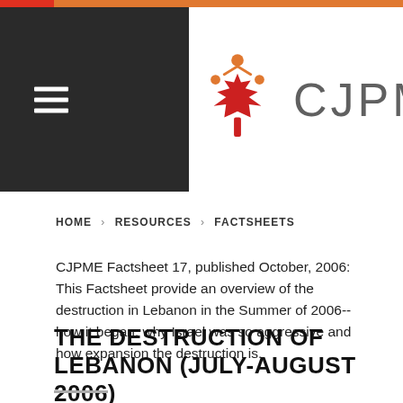[Figure (logo): CJPME logo with red maple leaf and orange figures, followed by text CJPME in grey]
HOME > RESOURCES > FACTSHEETS
CJPME Factsheet 17, published October, 2006: This Factsheet provide an overview of the destruction in Lebanon in the Summer of 2006--how it began, why Israel was so aggressive and how expansion the destruction is.
THE DESTRUCTION OF LEBANON (JULY-AUGUST 2006)